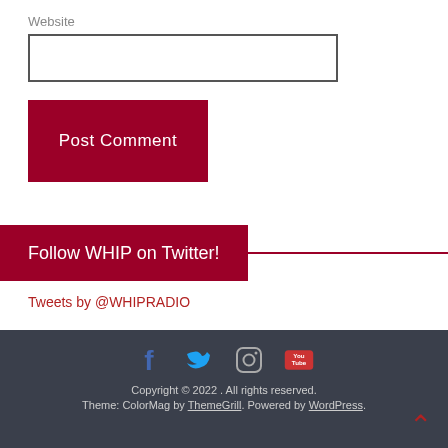Website
Post Comment
Follow WHIP on Twitter!
Tweets by @WHIPRADIO
[Figure (infographic): Social media icons: Facebook, Twitter, Instagram, YouTube]
Copyright © 2022 . All rights reserved. Theme: ColorMag by ThemeGrill. Powered by WordPress.